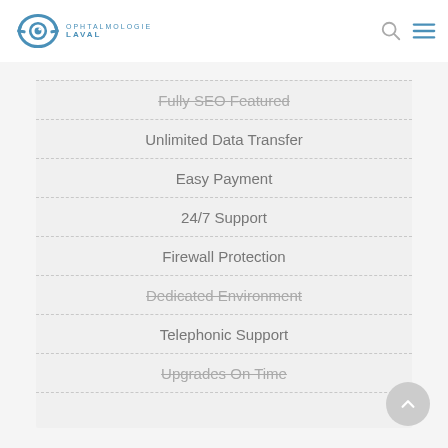Ophtalmologie Laval
Fully SEO Featured
Unlimited Data Transfer
Easy Payment
24/7 Support
Firewall Protection
Dedicated Environment
Telephonic Support
Upgrades On Time